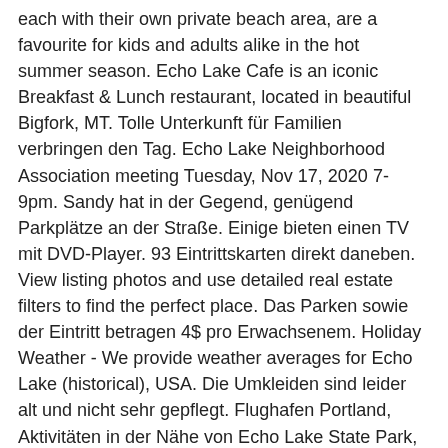each with their own private beach area, are a favourite for kids and adults alike in the hot summer season. Echo Lake Cafe is an iconic Breakfast & Lunch restaurant, located in beautiful Bigfork, MT. Tolle Unterkunft für Familien verbringen den Tag. Echo Lake Neighborhood Association meeting Tuesday, Nov 17, 2020 7-9pm. Sandy hat in der Gegend, genügend Parkplätze an der Straße. Einige bieten einen TV mit DVD-Player. 93 Eintrittskarten direkt daneben. View listing photos and use detailed real estate filters to find the perfect place. Das Parken sowie der Eintritt betragen 4$ pro Erwachsenem. Holiday Weather - We provide weather averages for Echo Lake (historical), USA. Die Umkleiden sind leider alt und nicht sehr gepflegt. Flughafen Portland, Aktivitäten in der Nähe von Echo Lake State Park, Fast Taxi: Foliage Tours and Taxi Cab/Shuttle & Delivery Services, New England Ski Museum Eastern Slope Branch, North Conway League of NH Craftsmen Fine Arts Gallery, Sehenswürdigkeiten & Wahrzeichen in Conway, Wahrzeichen & Sehenswürdigkeiten in Conway, Mount Washington Observatory Weather Discovery Center: Tickets und Touren, Cranmore Mountain Resort: Tickets